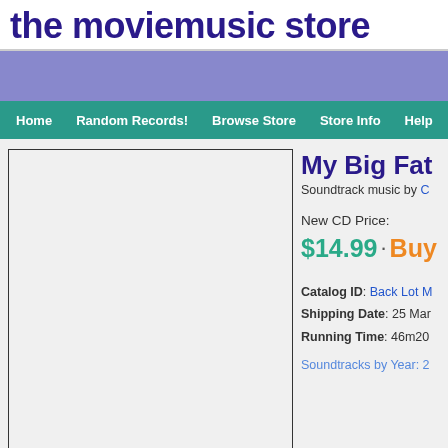the moviemusic store
[Figure (other): Purple/lavender banner bar]
Home | Random Records! | Browse Store | Store Info | Help
[Figure (photo): Album cover image placeholder box]
My Big Fat G
Soundtrack music by C
New CD Price:
$14.99 · Buy Now
Catalog ID: Back Lot M
Shipping Date: 25 Mar
Running Time: 46m20
Soundtracks by Year: 2